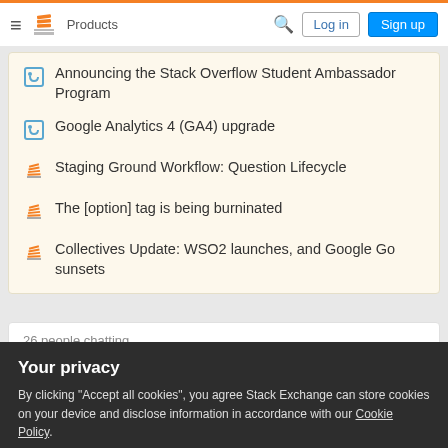≡  [Stack Overflow logo]  Products  🔍  Log in  Sign up
Announcing the Stack Overflow Student Ambassador Program
Google Analytics 4 (GA4) upgrade
Staging Ground Workflow: Question Lifecycle
The [option] tag is being burninated
Collectives Update: WSO2 launches, and Google Go sunsets
26 people chatting
Your privacy
By clicking "Accept all cookies", you agree Stack Exchange can store cookies on your device and disclose information in accordance with our Cookie Policy.
Accept all cookies   Customize settings
2 days ago · Mrugesh Tank